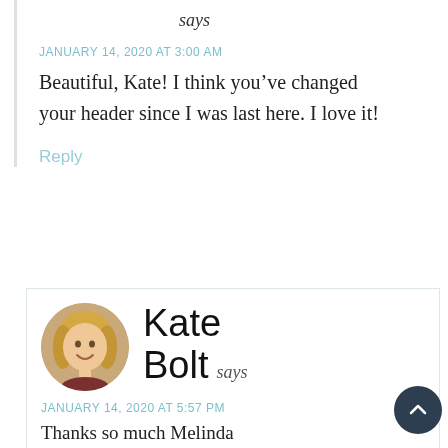says
JANUARY 14, 2020 AT 3:00 AM
Beautiful, Kate! I think you've changed your header since I was last here. I love it!
Reply
[Figure (photo): Circular avatar photo of a blonde woman smiling]
Kate Bolt says
JANUARY 14, 2020 AT 5:57 PM
Thanks so much Melinda